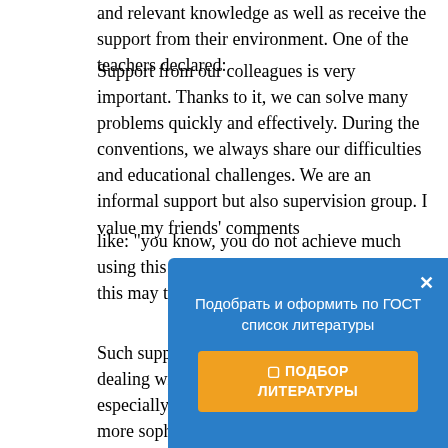and relevant knowledge as well as receive the support from their environment. One of the teachers declared:
Support from our colleagues is very important. Thanks to it, we can solve many problems quickly and effectively. During the conventions, we always share our difficulties and educational challenges. We are an informal support but also supervision group. I value my friends' comments
like: "you know, you do not achieve much using this strategy" or "be careful because this may turn against you".
Such support seems to be necessary when dealing with the cyberbullying cases, especially that it has been taking on more and more sophisticated forms. The respondents admitted they had never been cyberbullied by t about such case was ridiculed an while, the stude case was broug does not change the fact that teachers should know how to deal with attacks from the students. This is
[Figure (other): Russian-language popup overlay with blue background. Title: 'Подобрать и оформить по ГОСТ список литературы' with a close X button. Orange button labeled '⬛ ПОДБОР ЛИТЕРАТУРЫ'.]